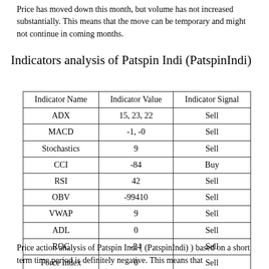Price has moved down this month, but volume has not increased substantially. This means that the move can be temporary and might not continue in coming months.
Indicators analysis of Patspin Indi (PatspinIndi)
| Indicator Name | Indicator Value | Indicator Signal |
| --- | --- | --- |
| ADX | 15, 23, 22 | Sell |
| MACD | -1, -0 | Sell |
| Stochastics | 9 | Sell |
| CCI | -84 | Buy |
| RSI | 42 | Sell |
| OBV | -99410 | Sell |
| VWAP | 9 | Sell |
| ADL | 0 | Sell |
| ROC | -24 | Sell |
| Force Index | 0 | Sell |
Price action analysis of Patspin Indi ( (PatspinIndi) ) based on a short term time period is definitely negative. This means that